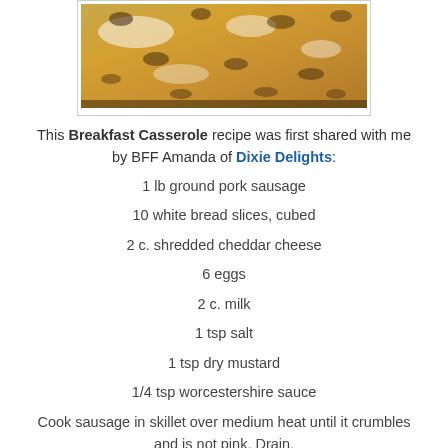[Figure (photo): Photo of a breakfast casserole in a baking dish, showing golden cheesy top with sausage pieces]
This Breakfast Casserole recipe was first shared with me by BFF Amanda of Dixie Delights:
1 lb ground pork sausage
10 white bread slices, cubed
2 c. shredded cheddar cheese
6 eggs
2 c. milk
1 tsp salt
1 tsp dry mustard
1/4 tsp worcestershire sauce
Cook sausage in skillet over medium heat until it crumbles and is not pink, Drain. Place bread in lightly greased 9x13" baking dish; sprinkle with cheese and top with sausage Whisk eggs and remaining ingredients & pour over sausage. Cover and chill for 8 hours. Let stand at room temperature